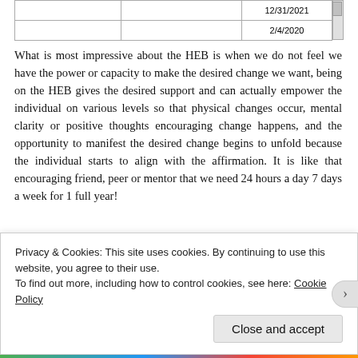|  |  |  |
| --- | --- | --- |
|  |  | 12/31/2021 |
|  |  | 2/4/2020 |
What is most impressive about the HEB is when we do not feel we have the power or capacity to make the desired change we want, being on the HEB gives the desired support and can actually empower the individual on various levels so that physical changes occur, mental clarity or positive thoughts encouraging change happens, and the opportunity to manifest the desired change begins to unfold because the individual starts to align with the affirmation. It is like that encouraging friend, peer or mentor that we need 24 hours a day 7 days a week for 1 full year!
Privacy & Cookies: This site uses cookies. By continuing to use this website, you agree to their use.
To find out more, including how to control cookies, see here: Cookie Policy